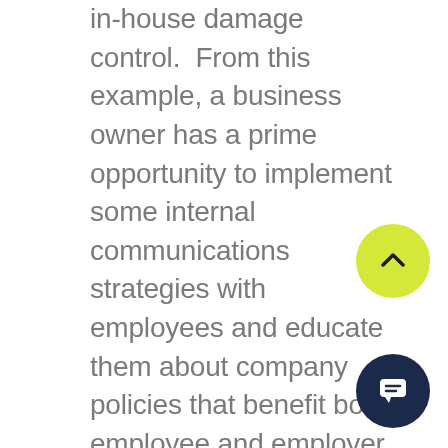in-house damage control.  From this example, a business owner has a prime opportunity to implement some internal communications strategies with employees and educate them about company policies that benefit both employee and employer.  Channeling energy into promoting a good workplace culture and encouraging the right kind of information sharing can really elevate a business's reputation and fortify its position in the marketplace.  In another example, some types of businesses are more prone to liability than others and some owners up learning the hard way that their goodwill only goes so far when a dispute arises.  Getting advice in advance of whether the use of written waivers and other contractual agreements to reduce